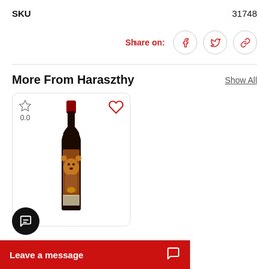SKU    31748
Share on:
More From Haraszthy
Show All
[Figure (photo): Wine bottle product card with star rating 0.0 and heart icon. Bottle has a bear illustration label.]
Leave a message